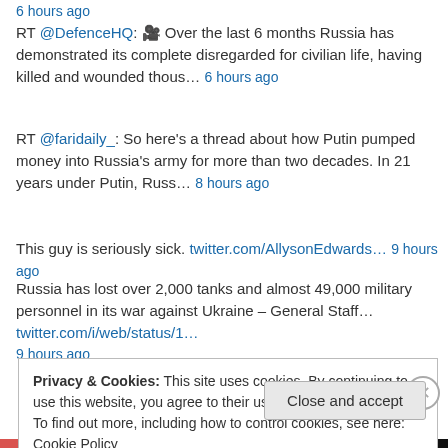6 hours ago
RT @DefenceHQ: 🎥 Over the last 6 months Russia has demonstrated its complete disregarded for civilian life, having killed and wounded thous… 6 hours ago
RT @faridaily_: So here's a thread about how Putin pumped money into Russia's army for more than two decades. In 21 years under Putin, Russ… 8 hours ago
This guy is seriously sick. twitter.com/AllysonEdwards… 9 hours ago
Russia has lost over 2,000 tanks and almost 49,000 military personnel in its war against Ukraine – General Staff… twitter.com/i/web/status/1… 9 hours ago
Privacy & Cookies: This site uses cookies. By continuing to use this website, you agree to their use. To find out more, including how to control cookies, see here: Cookie Policy
Close and accept